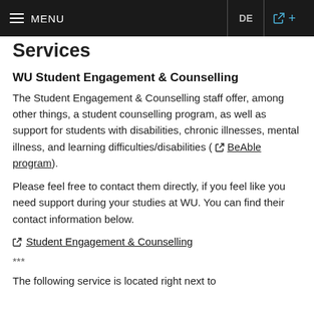≡ MENU | DE | 🔗 +
Services
WU Student Engagement & Counselling
The Student Engagement & Counselling staff offer, among other things, a student counselling program, as well as support for students with disabilities, chronic illnesses, mental illness, and learning difficulties/disabilities ( BeAble program).
Please feel free to contact them directly, if you feel like you need support during your studies at WU. You can find their contact information below.
Student Engagement & Counselling
***
The following service is located right next to